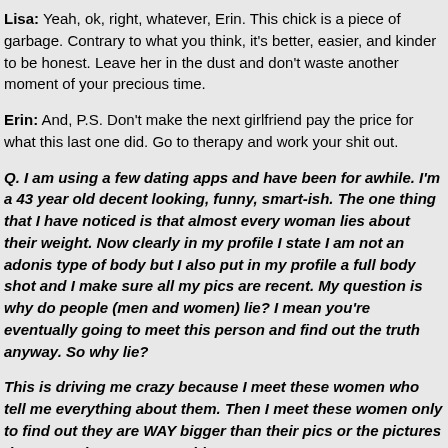Lisa: Yeah, ok, right, whatever, Erin. This chick is a piece of garbage. Contrary to what you think, it's better, easier, and kinder to be honest. Leave her in the dust and don't waste another moment of your precious time.
Erin: And, P.S. Don't make the next girlfriend pay the price for what this last one did. Go to therapy and work your shit out.
Q. I am using a few dating apps and have been for awhile. I'm a 43 year old decent looking, funny, smart-ish. The one thing that I have noticed is that almost every woman lies about their weight. Now clearly in my profile I state I am not an adonis type of body but I also put in my profile a full body shot and I make sure all my pics are recent. My question is why do people (men and women) lie? I mean you're eventually going to meet this person and find out the truth anyway. So why lie?
This is driving me crazy because I meet these women who tell me everything about them. Then I meet these women only to find out they are WAY bigger than their pics or the pictures they posted are 15 years old.
What the heck is going on here? I mean everyone complains about people lying but they are no better themselves. How do I weed thru all the red flags?